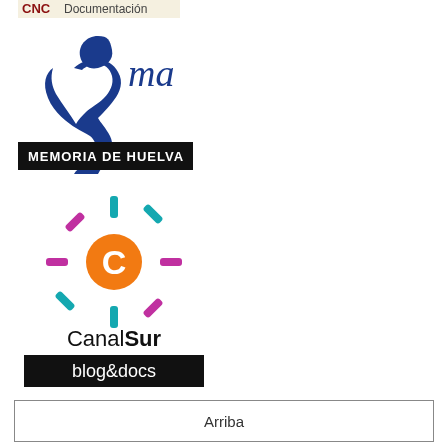[Figure (logo): CNC Documentación logo (red text on cream background)]
[Figure (logo): UMA Memoria de Huelva logo — blue abstract figure with 'ma' text and black banner 'MEMORIA DE HUELVA']
[Figure (logo): Canal Sur blog&docs logo — colorful sun/C icon, 'CanalSur' text, black banner 'blog&docs']
Arriba